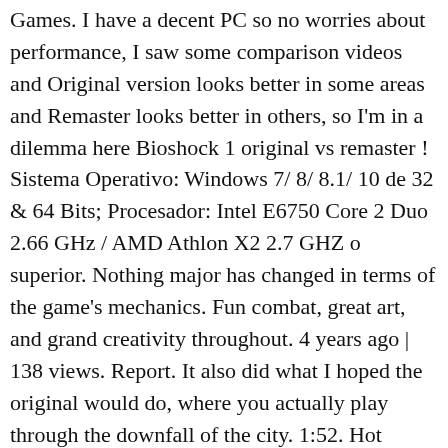Games. I have a decent PC so no worries about performance, I saw some comparison videos and Original version looks better in some areas and Remaster looks better in others, so I'm in a dilemma here Bioshock 1 original vs remaster ! Sistema Operativo: Windows 7/ 8/ 8.1/ 10 de 32 & 64 Bits; Procesador: Intel E6750 Core 2 Duo 2.66 GHz / AMD Athlon X2 2.7 GHZ o superior. Nothing major has changed in terms of the game's mechanics. Fun combat, great art, and grand creativity throughout. 4 years ago | 138 views. Report. It also did what I hoped the original would do, where you actually play through the downfall of the city. 1:52. Hot Pursuit Remastered vs Original Graphics Comparison – ... Prev Page 2 of 39 Next Prev Page 2 of 39 Next Bioshock Remastered. 2k released a patch for the remastered versions of bioshock